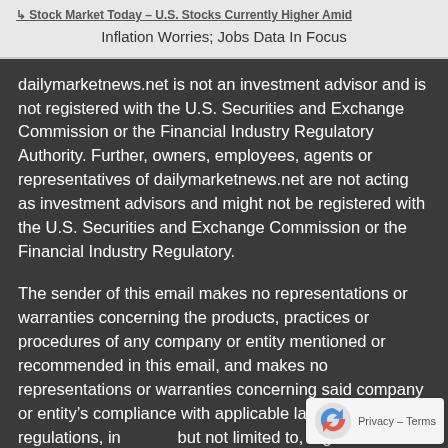Inflation Worries; Jobs Data In Focus
dailymarketnews.net is not an investment advisor and is not registered with the U.S. Securities and Exchange Commission or the Financial Industry Regulatory Authority. Further, owners, employees, agents or representatives of dailymarketnews.net are not acting as investment advisors and might not be registered with the U.S. Securities and Exchange Commission or the Financial Industry Regulatory.
The sender of this email makes no representations or warranties concerning the products, practices or procedures of any company or entity mentioned or recommended in this email, and makes no representations or warranties concerning said company or entity's compliance with applicable laws and regulations, including but not limited to, regulations promulgated by the SEC or the CFTC. The sender of this email may receive a portion of